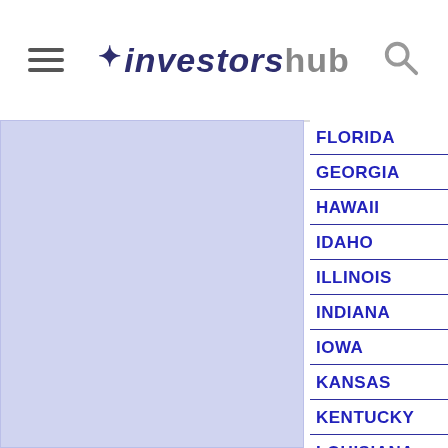investorsHub
[Figure (other): Light blue/lavender panel on left side of page]
FLORIDA
GEORGIA
HAWAII
IDAHO
ILLINOIS
INDIANA
IOWA
KANSAS
KENTUCKY
LOUISIANA
MAINE
MARYLAND
MASSACHUSETTS
MICHIGAN